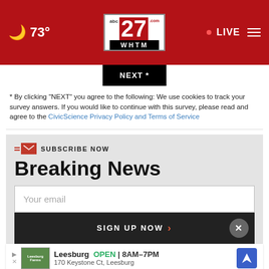abc27 WHTM.com — 73° LIVE
[Figure (screenshot): NEXT * button (black background, white text)]
* By clicking "NEXT" you agree to the following: We use cookies to track your survey answers. If you would like to continue with this survey, please read and agree to the CivicScience Privacy Policy and Terms of Service
SUBSCRIBE NOW Breaking News — Your email input field and SIGN UP NOW button
[Figure (screenshot): Advertisement banner: Leesburg OPEN 8AM-7PM, 170 Keystone Ct, Leesburg]